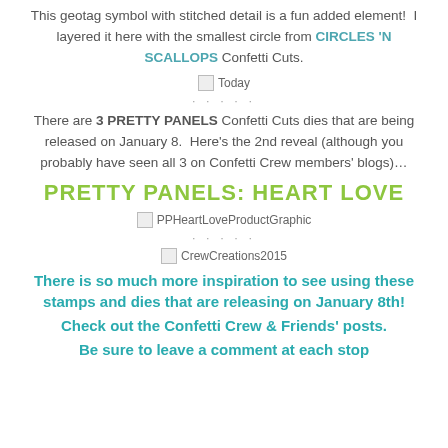This geotag symbol with stitched detail is a fun added element! I layered it here with the smallest circle from CIRCLES 'N SCALLOPS Confetti Cuts.
[Figure (photo): Broken image placeholder labeled 'Today']
· · · · ·
There are 3 PRETTY PANELS Confetti Cuts dies that are being released on January 8. Here's the 2nd reveal (although you probably have seen all 3 on Confetti Crew members' blogs)…
PRETTY PANELS: HEART LOVE
[Figure (photo): Broken image placeholder labeled 'PPHeartLoveProductGraphic']
· · · · ·
[Figure (photo): Broken image placeholder labeled 'CrewCreations2015']
There is so much more inspiration to see using these stamps and dies that are releasing on January 8th!
Check out the Confetti Crew & Friends' posts.
Be sure to leave a comment at each stop